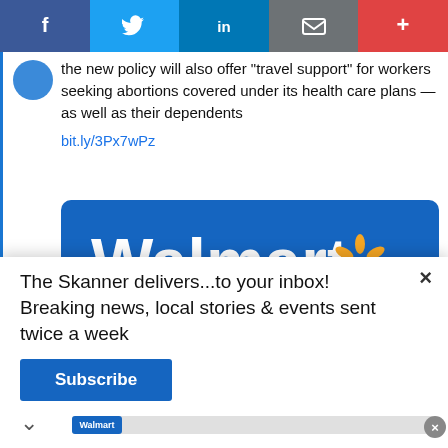[Figure (screenshot): Social media share bar with Facebook, Twitter, LinkedIn, email, and plus buttons]
the new policy will also offer "travel support" for workers seeking abortions covered under its health care plans — as well as their dependents
bit.ly/3Px7wPz
[Figure (photo): Walmart logo on blue background with yellow spark/asterisk icon]
The Skanner delivers...to your inbox! Breaking news, local stories & events sent twice a week
Subscribe
[Figure (photo): Sedona Apartments advertisement in Spanish: RENTA TU APARTAMENTO Y MUDATE HOY! VEN Y VISITANOS. 14402 Pavilion Point, Houston TX 77083. www.apartments.com. 1 Y 2 RECAMARAS. 281-568-4596]